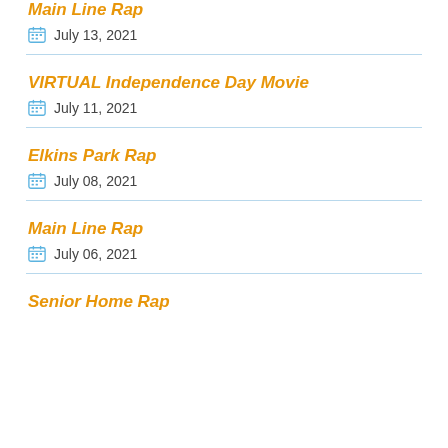Main Line Rap — July 13, 2021
VIRTUAL Independence Day Movie — July 11, 2021
Elkins Park Rap — July 08, 2021
Main Line Rap — July 06, 2021
Senior Home Rap (partial)